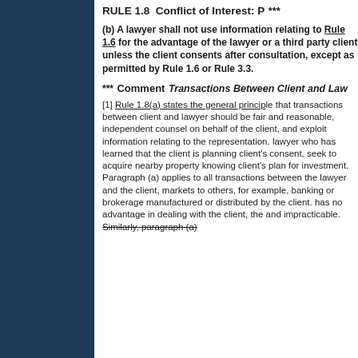RULE 1.8  Conflict of Interest: P...
***
(b) A lawyer shall not use information relating to Rule 1.6 for the advantage of the lawyer or a third party client unless the client consents after consultation, except as permitted by Rule 1.6 or Rule 3.3.
***
Comment
Transactions Between Client and Law...
[1] Rule 1.8(a) states the general principles that transactions between client and lawyer should be fair and reasonable, that independent counsel on behalf of the client, and that the lawyer should not exploit information relating to the representation. Thus, a lawyer who has learned that the client is planning a subdivision development should not, without the client's consent, seek to acquire nearby property knowing of the client's plan for investment. Paragraph (a) applies to all transactions between the lawyer and the client, unlike rules in some jurisdictions that limit application of the rule to business transactions. Paragraph (a) applies not only to directly adverse transactions but also to other transactions by which the lawyer might obtain an advantage from the lawyer's position. For example, banking or brokerage services made available by the client or products manufactured or distributed by the client. When the lawyer is in a position that has no advantage in dealing with the client, the rule is unnecessary and impracticable. Similarly, paragraph (a)...